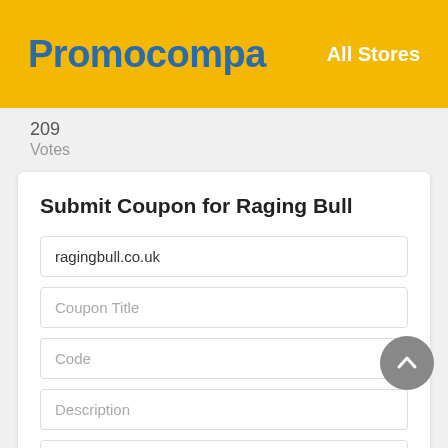Promocompa   All Stores
209
Votes
Submit Coupon for Raging Bull
ragingbull.co.uk
Coupon Title
Code
Description
Expiration
Submit